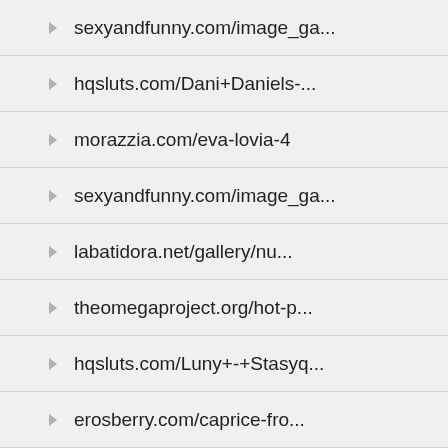sexyandfunny.com/image_ga...
hqsluts.com/Dani+Daniels-...
morazzia.com/eva-lovia-4
sexyandfunny.com/image_ga...
labatidora.net/gallery/nu...
theomegaproject.org/hot-p...
hqsluts.com/Luny+-+Stasyq...
erosberry.com/caprice-fro...
hqbabes.com/tt/Meghan+leo...